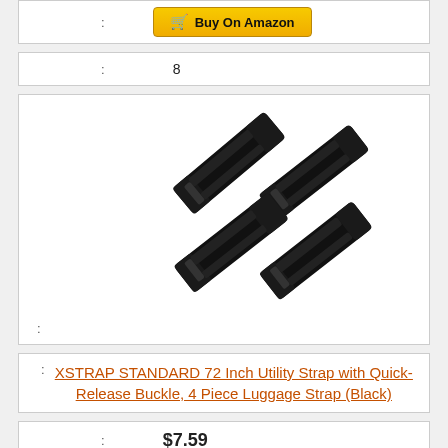: Buy On Amazon (button)
: 8
[Figure (photo): Four black luggage straps with quick-release buckles arranged diagonally]
:
: XSTRAP STANDARD 72 Inch Utility Strap with Quick-Release Buckle, 4 Piece Luggage Strap (Black)
: $7.59